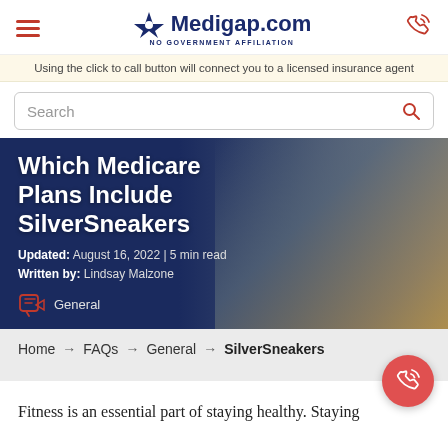Medigap.com — NO GOVERNMENT AFFILIATION
Using the click to call button will connect you to a licensed insurance agent
Search
Which Medicare Plans Include SilverSneakers
Updated: August 16, 2022 | 5 min read
Written by: Lindsay Malzone
General
Home → FAQs → General → SilverSneakers
Fitness is an essential part of staying healthy. Staying